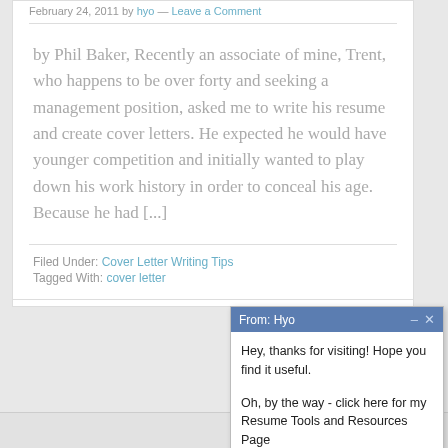February 24, 2011 by hyo — Leave a Comment
by Phil Baker, Recently an associate of mine, Trent, who happens to be over forty and seeking a management position, asked me to write his resume and create cover letters. He expected he would have younger competition and initially wanted to play down his work history in order to conceal his age. Because he had [...]
Filed Under: Cover Letter Writing Tips
Tagged With: cover letter
[Figure (screenshot): Chat popup from Hyo saying: Hey, thanks for visiting! Hope you find it useful. Oh, by the way - click here for my Resume Tools and Resources Page. And, Sign up for my newsletter - Good stuff in there...]